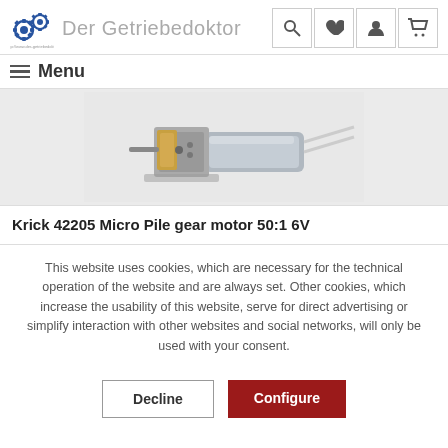Der Getriebedoktor
[Figure (logo): Gear logo icon with interlocking gears for Der Getriebedoktor]
[Figure (photo): Photo of Krick 42205 Micro Pile gear motor 50:1 6V - a small silver metal gearbox motor with a brass gear and thin white wires]
Krick 42205 Micro Pile gear motor 50:1 6V
This website uses cookies, which are necessary for the technical operation of the website and are always set. Other cookies, which increase the usability of this website, serve for direct advertising or simplify interaction with other websites and social networks, will only be used with your consent.
Decline
Configure